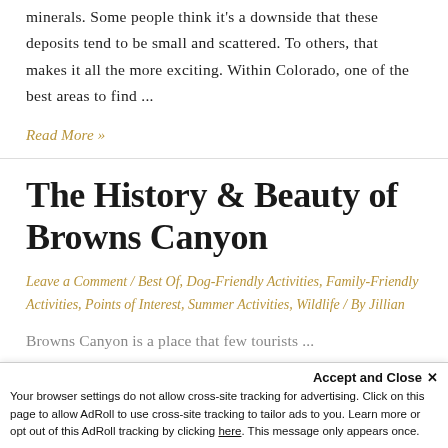minerals. Some people think it's a downside that these deposits tend to be small and scattered. To others, that makes it all the more exciting. Within Colorado, one of the best areas to find ...
Read More »
The History & Beauty of Browns Canyon
Leave a Comment / Best Of, Dog-Friendly Activities, Family-Friendly Activities, Points of Interest, Summer Activities, Wildlife / By Jillian
Browns Canyon is a place that few tourists ...
Accept and Close ×
Your browser settings do not allow cross-site tracking for advertising. Click on this page to allow AdRoll to use cross-site tracking to tailor ads to you. Learn more or opt out of this AdRoll tracking by clicking here. This message only appears once.